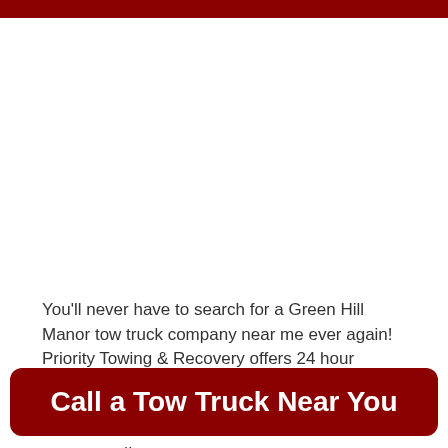You'll never have to search for a Green Hill Manor tow truck company near me ever again! Priority Towing & Recovery offers 24 hour
[Figure (other): Dark red call-to-action button with white bold text reading 'Call a Tow Truck Near You']
guaranteed!